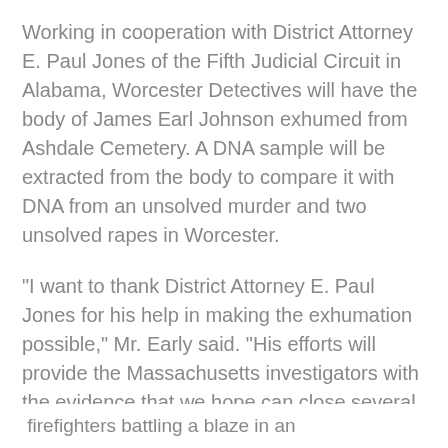Working in cooperation with District Attorney E. Paul Jones of the Fifth Judicial Circuit in Alabama, Worcester Detectives will have the body of James Earl Johnson exhumed from Ashdale Cemetery. A DNA sample will be extracted from the body to compare it with DNA from an unsolved murder and two unsolved rapes in Worcester.
"I want to thank District Attorney E. Paul Jones for his help in making the exhumation possible," Mr. Early said. "His efforts will provide the Massachusetts investigators with the evidence that we hope can close several horrible cases and bring a measure of closure to the victims' families."
Mr. Johnson lived Worcester for 15 years in the 1980s and '90s.
Translate »
firefighters battling a blaze in an